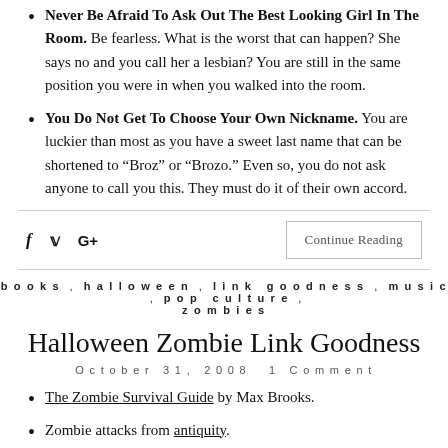Never Be Afraid To Ask Out The Best Looking Girl In The Room. Be fearless. What is the worst that can happen? She says no and you call her a lesbian? You are still in the same position you were in when you walked into the room.
You Do Not Get To Choose Your Own Nickname. You are luckier than most as you have a sweet last name that can be shortened to “Broz” or “Brozo.” Even so, you do not ask anyone to call you this. They must do it of their own accord.
f  [twitter]  G+   Continue Reading
books , halloween , link goodness , music , pop culture , zombies
Halloween Zombie Link Goodness
October 31, 2008   1 Comment
The Zombie Survival Guide by Max Brooks.
Zombie attacks from antiquity.
“I Love Shotgunning Zombies” shirt from Threadless.